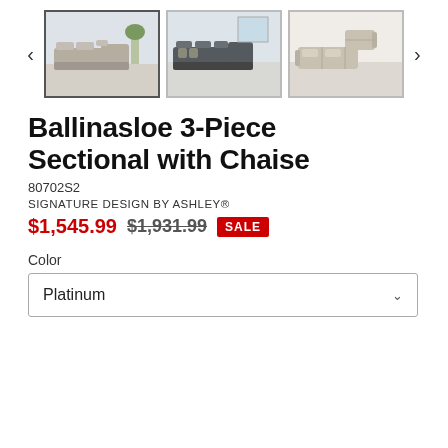[Figure (photo): Three product thumbnail images of the Ballinasloe 3-Piece Sectional with Chaise shown in different angles/colors, with left and right navigation arrows]
Ballinasloe 3-Piece Sectional with Chaise
80702S2
SIGNATURE DESIGN BY ASHLEY®
$1,545.99  $1,931.99  SALE
Color
Platinum